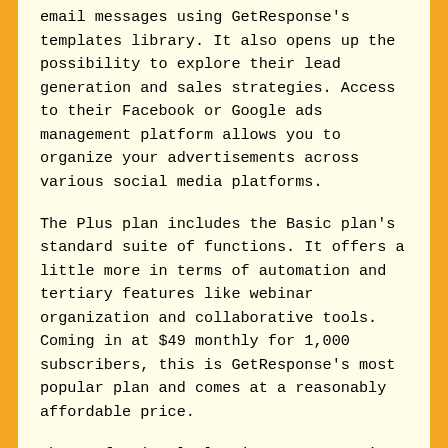email messages using GetResponse's templates library. It also opens up the possibility to explore their lead generation and sales strategies. Access to their Facebook or Google ads management platform allows you to organize your advertisements across various social media platforms.
The Plus plan includes the Basic plan's standard suite of functions. It offers a little more in terms of automation and tertiary features like webinar organization and collaborative tools. Coming in at $49 monthly for 1,000 subscribers, this is GetResponse's most popular plan and comes at a reasonably affordable price.
The Professional plan is GetResponse's advanced plan for business owners and entrepreneurs, offering complete automation and workflows, advanced web push